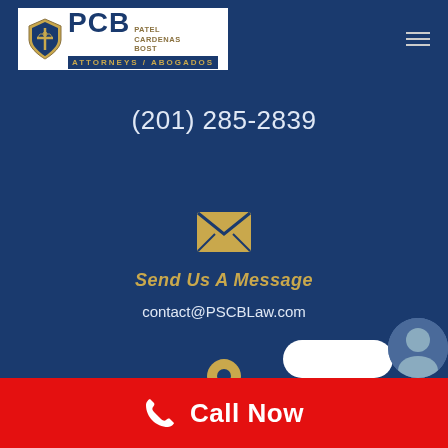[Figure (logo): PCB Patel Cardenas Bost Attorneys/Abogados law firm logo with shield icon]
(201) 285-2839
[Figure (illustration): Envelope/email icon in gold/tan color]
Send Us A Message
contact@PSCBLaw.com
[Figure (illustration): Location pin icon in gold/tan color]
Call Now